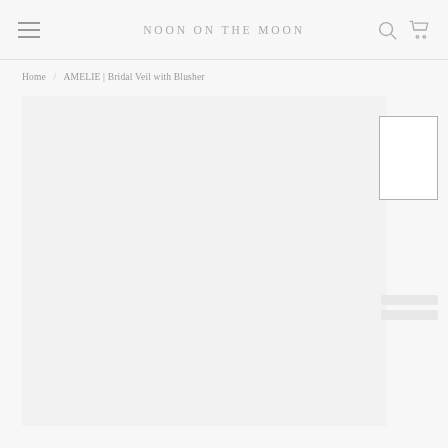NOON ON THE MOON
Home / AMELIE | Bridal Veil with Blusher
[Figure (photo): Main product image area - large light gray placeholder for bridal veil product photo]
[Figure (photo): Small thumbnail image placeholder with gray border on right side]